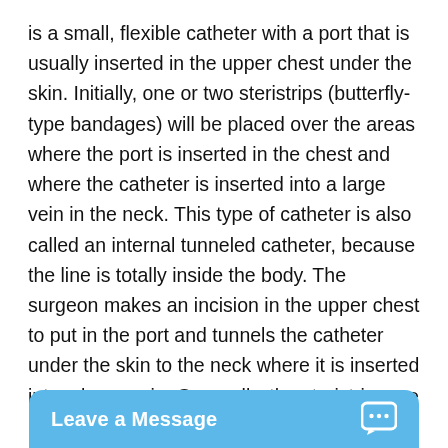is a small, flexible catheter with a port that is usually inserted in the upper chest under the skin. Initially, one or two steristrips (butterfly-type bandages) will be placed over the areas where the port is inserted in the chest and where the catheter is inserted into a large vein in the neck. This type of catheter is also called an internal tunneled catheter, because the line is totally inside the body. The surgeon makes an incision in the upper chest to put in the port and tunnels the catheter under the skin to the neck where it is inserted into a large vein. Generally, the steristrips are not removed and will fall off by themselves with normal bathing. The port does not require the same care at home as a PICC or Broviac®/Hickm
[Figure (other): Blue 'Leave a Message' chat widget bar at the bottom of the screen with a chat bubble icon on the right.]